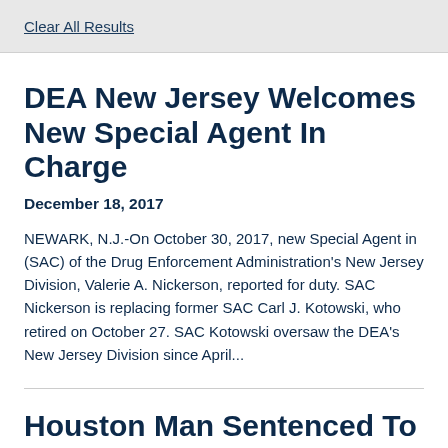Clear All Results
DEA New Jersey Welcomes New Special Agent In Charge
December 18, 2017
NEWARK, N.J.-On October 30, 2017, new Special Agent in (SAC) of the Drug Enforcement Administration's New Jersey Division, Valerie A. Nickerson, reported for duty. SAC Nickerson is replacing former SAC Carl J. Kotowski, who retired on October 27. SAC Kotowski oversaw the DEA's New Jersey Division since April...
Houston Man Sentenced To 27